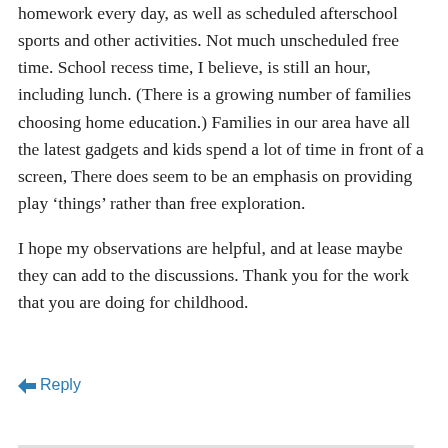homework every day, as well as scheduled afterschool sports and other activities. Not much unscheduled free time. School recess time, I believe, is still an hour, including lunch. (There is a growing number of families choosing home education.) Families in our area have all the latest gadgets and kids spend a lot of time in front of a screen, There does seem to be an emphasis on providing play ‘things’ rather than free exploration.
I hope my observations are helpful, and at lease maybe they can add to the discussions. Thank you for the work that you are doing for childhood.
Reply